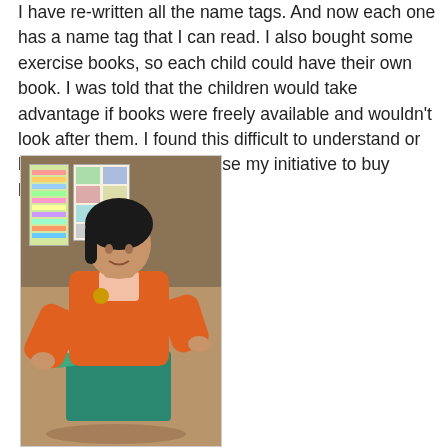I have re-written all the name tags.  And now each one has a name tag that I can read.   I also bought some exercise books, so each child could have their own book.  I was told that the children would take advantage if books were freely available and wouldn't look after them.   I found this difficult to understand or believe, and I decided to use my initiative to buy books.
[Figure (photo): A young girl in an orange jacket sitting and doing a craft activity (appears to be sewing or knitting with teal/green fabric). Educational posters are visible on the wall in the background.]